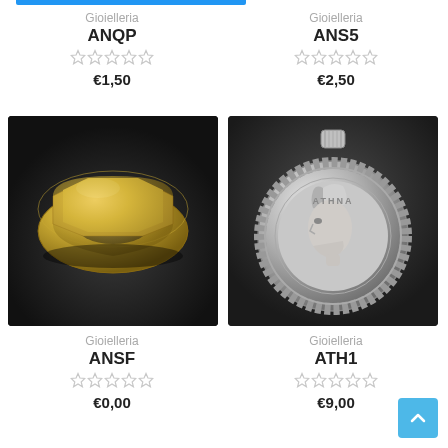[Figure (screenshot): Blue bar at top left, partially visible product card top]
Gioielleria
ANQP
★★★★★ (empty stars)
€1,50
Gioielleria
ANS5
★★★★★ (empty stars)
€2,50
[Figure (photo): 3D rendered gold geometric ring on dark background]
[Figure (photo): 3D rendered silver Athena coin/medallion pendant on dark background]
Gioielleria
ANSF
★★★★★ (empty stars)
€0,00
Gioielleria
ATH1
★★★★★ (empty stars)
€9,00